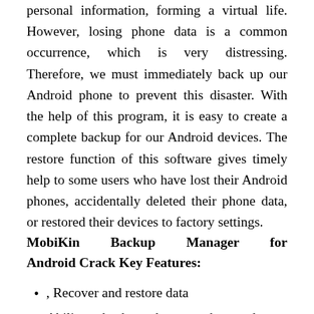personal information, forming a virtual life. However, losing phone data is a common occurrence, which is very distressing. Therefore, we must immediately back up our Android phone to prevent this disaster. With the help of this program, it is easy to create a complete backup for our Android devices. The restore function of this software gives timely help to some users who have lost their Android phones, accidentally deleted their phone data, or restored their devices to factory settings.
MobiKin Backup Manager for Android Crack Key Features:
, Recover and restore data
Ability to back up phone numbers and text